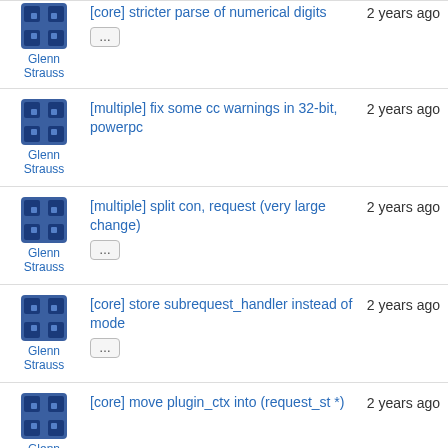Glenn Strauss | [core] stricter parse of numerical digits | 2 years ago
Glenn Strauss | [multiple] fix some cc warnings in 32-bit, powerpc | 2 years ago
Glenn Strauss | [multiple] split con, request (very large change) | 2 years ago
Glenn Strauss | [core] store subrequest_handler instead of mode | 2 years ago
Glenn Strauss | [core] move plugin_ctx into (request_st *) | 2 years ago